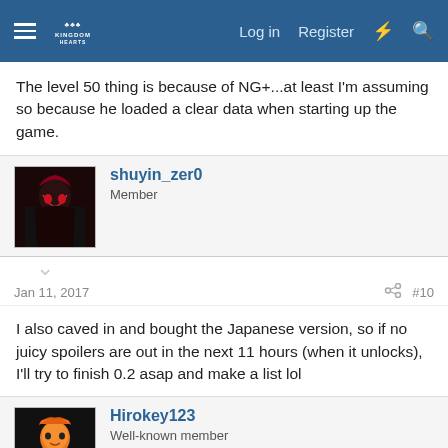Log in  Register
The level 50 thing is because of NG+...at least I'm assuming so because he loaded a clear data when starting up the game.
shuyin_zer0
Member
Jan 11, 2017  #10
I also caved in and bought the Japanese version, so if no juicy spoilers are out in the next 11 hours (when it unlocks), I'll try to finish 0.2 asap and make a list lol
Hirokey123
Well-known member
Jan 11, 2017  #11